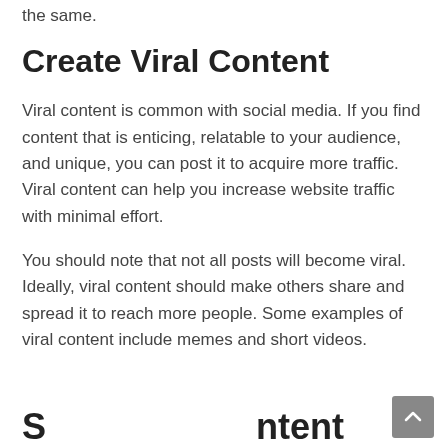the same.
Create Viral Content
Viral content is common with social media. If you find content that is enticing, relatable to your audience, and unique, you can post it to acquire more traffic. Viral content can help you increase website traffic with minimal effort.
You should note that not all posts will become viral. Ideally, viral content should make others share and spread it to reach more people. Some examples of viral content include memes and short videos.
S… …ntent